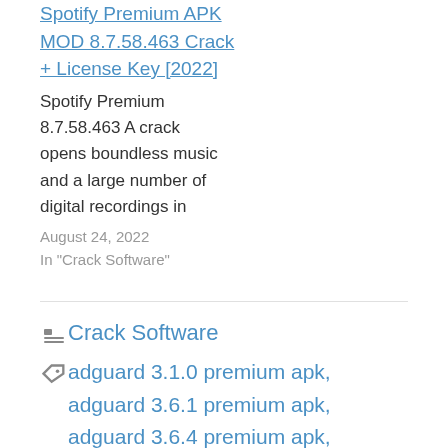Spotify Premium APK MOD 8.7.58.463 Crack + License Key [2022]
Spotify Premium 8.7.58.463 A crack opens boundless music and a large number of digital recordings in
August 24, 2022
In "Crack Software"
Crack Software
adguard 3.1.0 premium apk, adguard 3.6.1 premium apk, adguard 3.6.4 premium apk, adguard 3.6.7 premium apk, adguard free vs premium, adguard premium, adguard premium android, adguard premium apk, adguard premium apk 2018, adguard